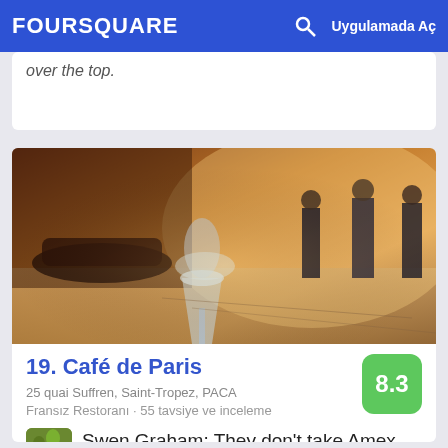FOURSQUARE  Uygulamada Aç
over the top.
[Figure (photo): Outdoor cafe scene in warm golden light with a wine glass in foreground and people standing in background on a cobblestone terrace.]
19. Café de Paris
25 quai Suffren, Saint-Tropez, PACA
Fransız Restoranı · 55 tavsiye ve inceleme
Swen Graham: They don't take Amex